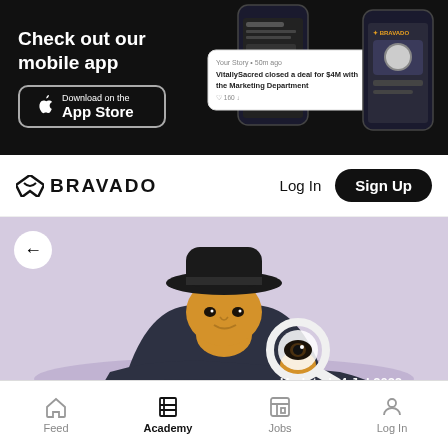[Figure (screenshot): Black banner ad promoting Bravado mobile app with phone mockups showing app interface]
Check out our mobile app
[Figure (logo): Download on the App Store button]
BRAVADO  Log In  Sign Up
[Figure (illustration): Illustration of a detective figure wearing a black hat and coat, holding a magnifying glass with an eye visible through it, set against a lavender/purple background. Updated: 4 Jul 2022]
Feed  Academy  Jobs  Log In